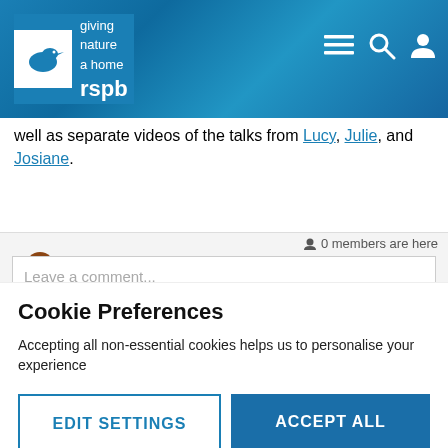[Figure (screenshot): RSPB website header with logo (bird icon, 'rspb' text, 'giving nature a home'), blue cracked-texture background, and navigation icons (hamburger menu, search, user) on the right]
well as separate videos of the talks from Lucy, Julie, and Josiane.
[Figure (screenshot): Comment section with robin bird avatar, '0 members are here' indicator, a 'Leave a comment...' text input box, and a formatting toolbar with Paragraph dropdown and alignment/list icons]
Cookie Preferences
Accepting all non-essential cookies helps us to personalise your experience
EDIT SETTINGS
ACCEPT ALL